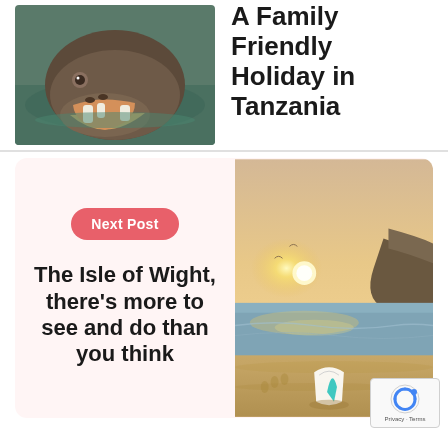[Figure (photo): Close-up photo of a hippo with mouth open in water]
A Family Friendly Holiday in Tanzania
Next Post
The Isle of Wight, there's more to see and do than you think
[Figure (photo): Beach sunset photo with surfboard fin in sand, golden light over ocean and rocky headland]